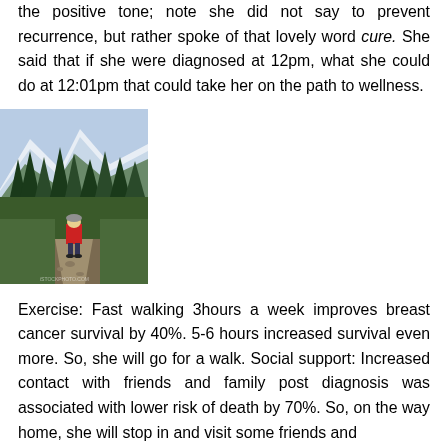the positive tone; note she did not say to prevent recurrence, but rather spoke of that lovely word cure. She said that if she were diagnosed at 12pm, what she could do at 12:01pm that could take her on the path to wellness.
[Figure (photo): A person with a red backpack walking on a mountain trail through conifer forest with snow-capped peaks in the background.]
Exercise:  Fast walking 3hours a week improves breast cancer survival by 40%.  5-6 hours increased survival even more.  So, she will go for a walk. Social support: Increased contact with friends and family post diagnosis was associated with lower risk of death by 70%.  So, on the way home, she will stop in and visit some friends and